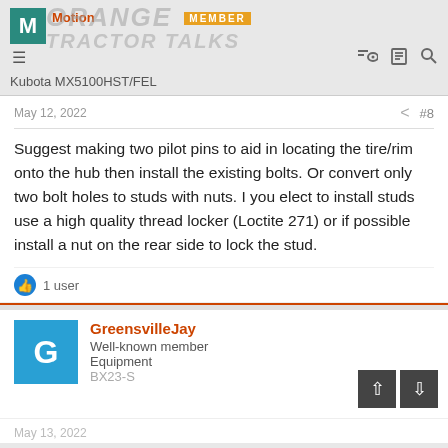Motion | Orange Tractor Talks | Member | Kubota MX5100HST/FEL
May 12, 2022  #8
Suggest making two pilot pins to aid in locating the tire/rim onto the hub then install the existing bolts. Or convert only two bolt holes to studs with nuts. I you elect to install studs use a high quality thread locker (Loctite 271) or if possible install a nut on the rear side to lock the stud.
1 user
GreensvilleJay
Well-known member
Equipment
BX23-S